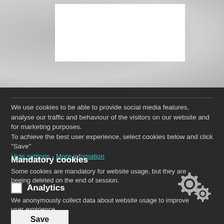[Figure (screenshot): Top grey textured area with a white rectangle in the center, representing a blurred/partial website screenshot]
We use cookies to be able to provide social media features, analyse our traffic and behaviour of the visitors on our website and for marketing purposes.
To achieve the best user experience, select cookies below and click "Save"
Hide settings - More infomation
Mandatory cookies
Some cookies are mandatory for website usage, but they are beeing deleted on the end of session.
☐ Analytics
We anonymously collect data about website usage to improve user expirience.
Save